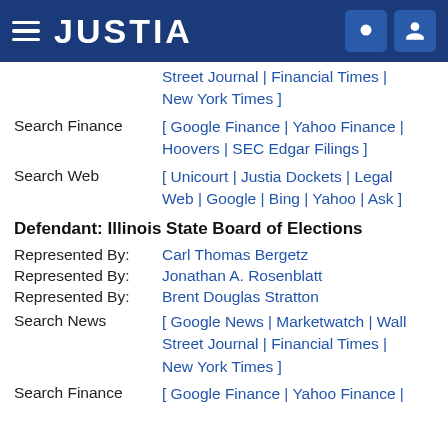JUSTIA
Street Journal | Financial Times | New York Times ]
Search Finance [ Google Finance | Yahoo Finance | Hoovers | SEC Edgar Filings ]
Search Web [ Unicourt | Justia Dockets | Legal Web | Google | Bing | Yahoo | Ask ]
Defendant: Illinois State Board of Elections
Represented By: Carl Thomas Bergetz
Represented By: Jonathan A. Rosenblatt
Represented By: Brent Douglas Stratton
Search News [ Google News | Marketwatch | Wall Street Journal | Financial Times | New York Times ]
Search Finance [ Google Finance | Yahoo Finance |